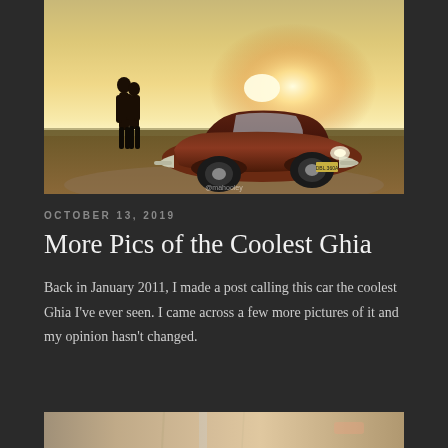[Figure (photo): Couple kissing in silhouette next to a classic VW Karmann Ghia on a dirt road at sunset, warm golden light in background]
OCTOBER 13, 2019
More Pics of the Coolest Ghia
Back in January 2011, I made a post calling this car the coolest Ghia I've ever seen. I came across a few more pictures of it and my opinion hasn't changed.
[Figure (photo): Partial view of another photo at the bottom of the page]